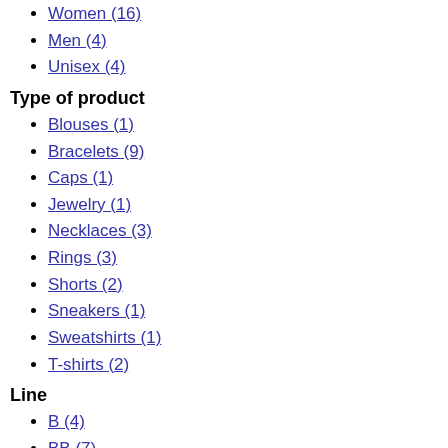Women (16)
Men (4)
Unisex (4)
Type of product
Blouses (1)
Bracelets (9)
Caps (1)
Jewelry (1)
Necklaces (3)
Rings (3)
Shorts (2)
Sneakers (1)
Sweatshirts (1)
T-shirts (2)
Line
B (4)
BB (7)
Force (2)
Loop (1)
X-Pander (1)